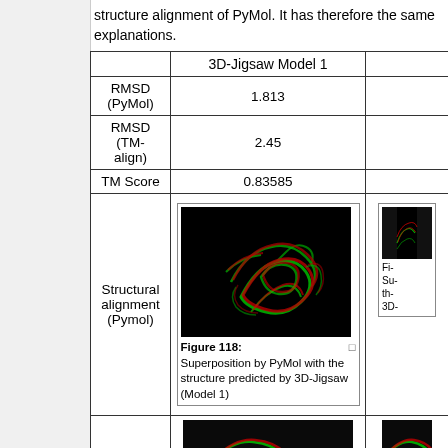structure alignment of PyMol. It has therefore the same explanations.
|  | 3D-Jigsaw Model 1 |  |
| --- | --- | --- |
| RMSD (PyMol) | 1.813 |  |
| RMSD (TM-align) | 2.45 |  |
| TM Score | 0.83585 |  |
| Structural alignment (Pymol) | [Figure 118: Superposition by PyMol with the structure predicted by 3D-Jigsaw (Model 1)] | [Fi- Su- th- 3D-] |
|  | [bottom figure partial] | [bottom figure partial] |
Figure 118: Superposition by PyMol with the structure predicted by 3D-Jigsaw (Model 1)